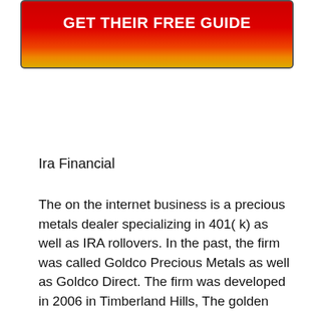[Figure (other): Red to orange/yellow gradient button with white bold text reading GET THEIR FREE GUIDE]
Ira Financial
The on the internet business is a precious metals dealer specializing in 401( k) as well as IRA rollovers. In the past, the firm was called Goldco Precious Metals as well as Goldco Direct. The firm was developed in 2006 in Timberland Hills, The golden state as well as offers over 100 overall years of experience in rare-earth elements wholesaling through their web site. The solutions offered likewise include direct distribution of rare-earth elements to customers with 401(k) as well as Gold